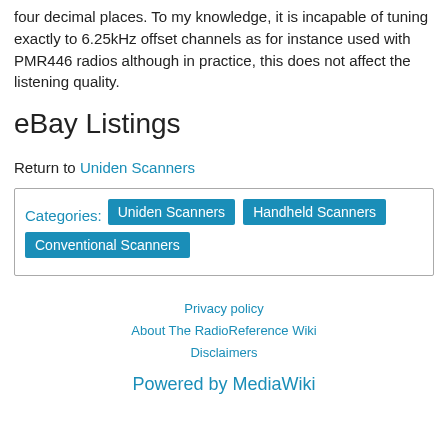four decimal places. To my knowledge, it is incapable of tuning exactly to 6.25kHz offset channels as for instance used with PMR446 radios although in practice, this does not affect the listening quality.
eBay Listings
Return to Uniden Scanners
Categories: Uniden Scanners | Handheld Scanners | Conventional Scanners
Privacy policy | About The RadioReference Wiki | Disclaimers | Powered by MediaWiki